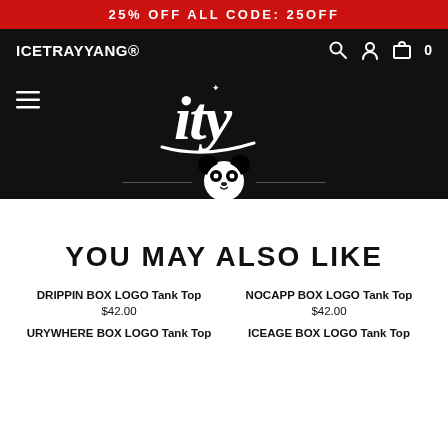25% OFF ALL CODE: 25OFF
[Figure (logo): ICETRAYYANG® brand logo in white text on black navigation bar with search, user, and cart icons]
[Figure (logo): ITY brand logo in italic white script with diamond icon and panda face mascot on black background]
YOU MAY ALSO LIKE
DRIPPIN BOX LOGO Tank Top
$42.00
NOCAPP BOX LOGO Tank Top
$42.00
URYWHERE BOX LOGO Tank Top
ICEAGE BOX LOGO Tank Top